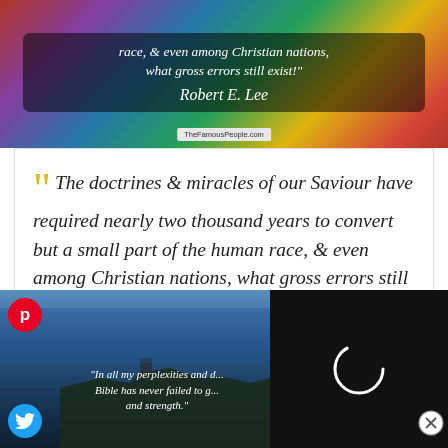[Figure (photo): Colorful gradient background image with a quote card overlay. Quote text in italic white: 'race, & even among Christian nations, what gross errors still exist!' with cursive signature 'Robert E. Lee' and TheFamousPeople.com watermark.]
The doctrines & miracles of our Saviour have required nearly two thousand years to convert but a small part of the human race, & even among Christian nations, what gross errors still exist!
Robert E. Lee
[Figure (photo): Bottom left: photo of coastal cliffs with pinterest and twitter social share buttons, partial quote text visible: "In all my perplexities and d... Bible has never failed to g... and strength." Bottom right: black panel with white spinner/loading circle and close X button.]